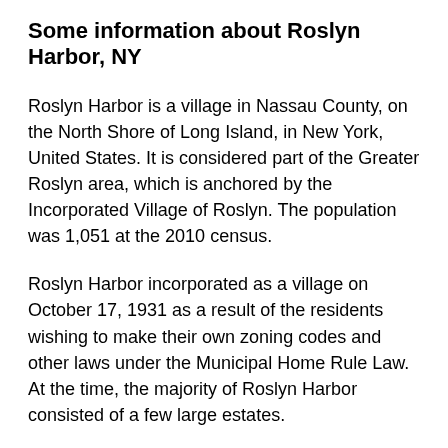Some information about Roslyn Harbor, NY
Roslyn Harbor is a village in Nassau County, on the North Shore of Long Island, in New York, United States. It is considered part of the Greater Roslyn area, which is anchored by the Incorporated Village of Roslyn. The population was 1,051 at the 2010 census.
Roslyn Harbor incorporated as a village on October 17, 1931 as a result of the residents wishing to make their own zoning codes and other laws under the Municipal Home Rule Law. At the time, the majority of Roslyn Harbor consisted of a few large estates.
The ‘Roslyn’ part of Roslyn Harbor’s name is